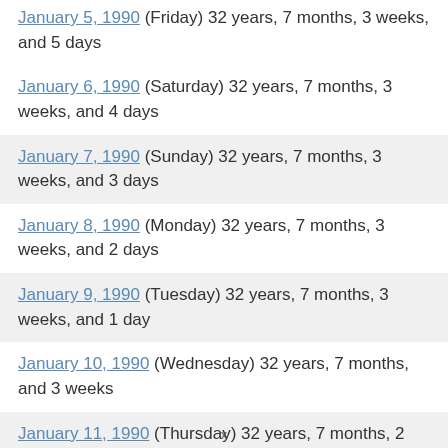January 5, 1990 (Friday) 32 years, 7 months, 3 weeks, and 5 days
January 6, 1990 (Saturday) 32 years, 7 months, 3 weeks, and 4 days
January 7, 1990 (Sunday) 32 years, 7 months, 3 weeks, and 3 days
January 8, 1990 (Monday) 32 years, 7 months, 3 weeks, and 2 days
January 9, 1990 (Tuesday) 32 years, 7 months, 3 weeks, and 1 day
January 10, 1990 (Wednesday) 32 years, 7 months, and 3 weeks
January 11, 1990 (Thursday) 32 years, 7 months, 2 weeks, and 6 days
x